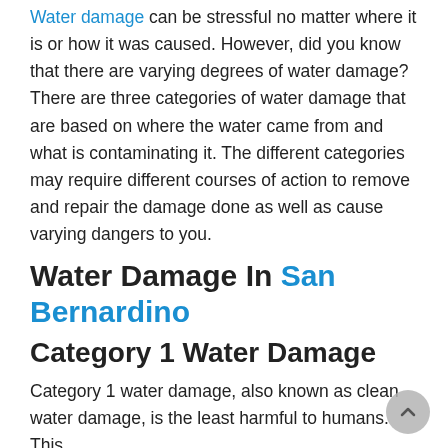Water damage can be stressful no matter where it is or how it was caused. However, did you know that there are varying degrees of water damage? There are three categories of water damage that are based on where the water came from and what is contaminating it. The different categories may require different courses of action to remove and repair the damage done as well as cause varying dangers to you.
Water Damage In San Bernardino
Category 1 Water Damage
Category 1 water damage, also known as clean water damage, is the least harmful to humans. This